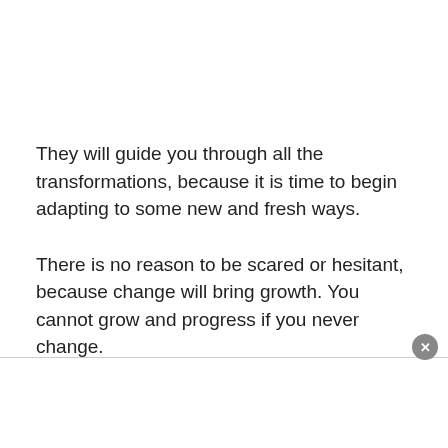They will guide you through all the transformations, because it is time to begin adapting to some new and fresh ways.
There is no reason to be scared or hesitant, because change will bring growth. You cannot grow and progress if you never change.
You have been blessed with many skills and talents